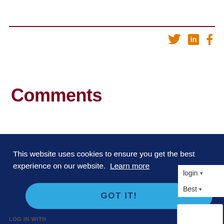[Figure (other): Social media share icons: Twitter bird, LinkedIn 'in', Facebook 'f' in orange]
Comments
This website uses cookies to ensure you get the best experience on our website. Learn more
GOT IT!
login
Best
LOG IN WITH